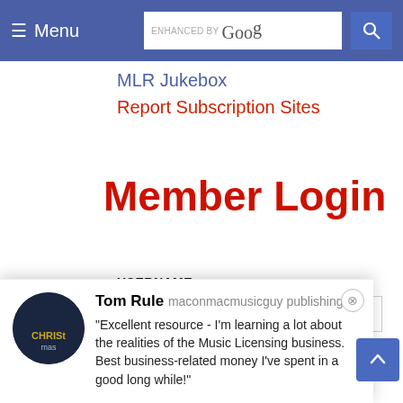≡ Menu  ENHANCED BY Goog 🔍
MLR Jukebox
Report Subscription Sites
Member Login
USERNAME
PASSWORD
Tom Rule  maconmacmusicguy publishing
"Excellent resource - I'm learning a lot about the realities of the Music Licensing business. Best business-related money I've spent in a good long while!"